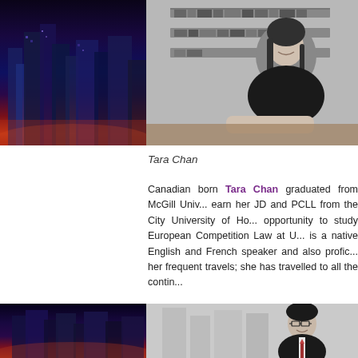[Figure (photo): Two side-by-side images: left is a nighttime city skyline with purple/blue/orange glow; right is a black-and-white photo of Tara Chan, a woman seated at a desk with bookshelves behind her, smiling.]
Tara Chan
Canadian born Tara Chan graduated from McGill Univ... earn her JD and PCLL from the City University of Ho... opportunity to study European Competition Law at U... is a native English and French speaker and also profic... her frequent travels; she has travelled to all the contin...
[Figure (photo): Two side-by-side images: left is a nighttime city skyline with purple/orange tones; right is a black-and-white professional photo of a man wearing glasses and a suit.]